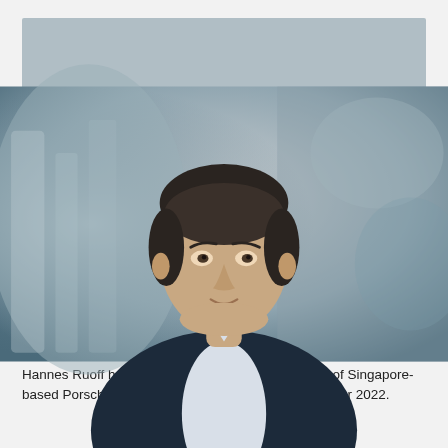[Figure (photo): Professional headshot of Hannes Ruoff, a man in a dark navy blazer with white shirt, dark hair, slight smile, photographed outdoors with blurred modern architecture in the background.]
Company | 03/08/2022
New Chief Executive Officer at Porsche Asia Pacific
Hannes Ruoff has been appointed as the new CEO of Singapore-based Porsche Asia Pacific Pte Ltd, effective 1 October 2022.